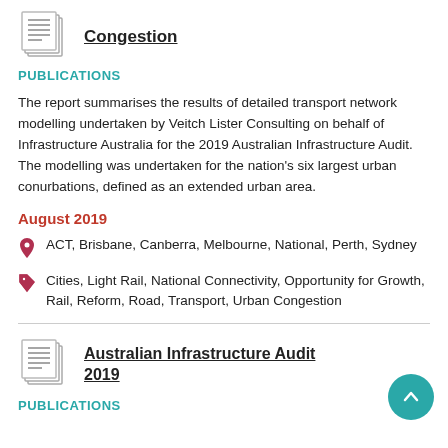[Figure (illustration): Document/report icon (stacked pages with lines)]
Congestion
PUBLICATIONS
The report summarises the results of detailed transport network modelling undertaken by Veitch Lister Consulting on behalf of Infrastructure Australia for the 2019 Australian Infrastructure Audit. The modelling was undertaken for the nation's six largest urban conurbations, defined as an extended urban area.
August 2019
ACT, Brisbane, Canberra, Melbourne, National, Perth, Sydney
Cities, Light Rail, National Connectivity, Opportunity for Growth, Rail, Reform, Road, Transport, Urban Congestion
[Figure (illustration): Document/report icon (stacked pages with lines)]
Australian Infrastructure Audit 2019
PUBLICATIONS